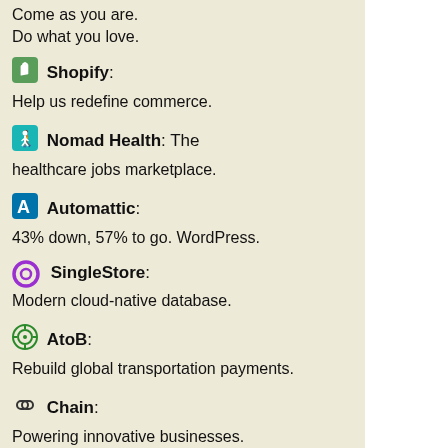Come as you are. Do what you love.
Shopify: Help us redefine commerce.
Nomad Health: The healthcare jobs marketplace.
Automattic: 43% down, 57% to go. WordPress.
SingleStore: Modern cloud-native database.
AtoB: Rebuild global transportation payments.
Chain: Powering innovative businesses.